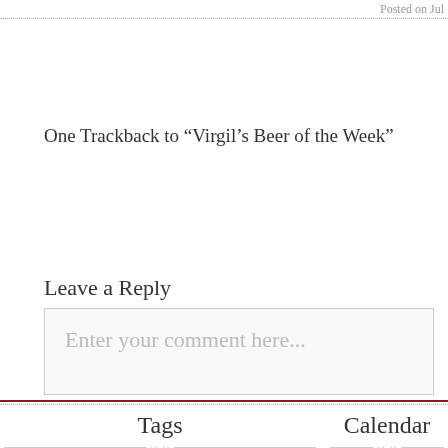Posted on Jul
One Trackback to “Virgil’s Beer of the Week”
Leave a Reply
Enter your comment here...
Tags
alternative americana country darkwave davy jay sparrow electronica emo experimental folk funk garage rock gloria
Calendar
| M | T | W | T | F | S | S |
| --- | --- | --- | --- | --- | --- | --- |
|  |  |  |  | 1 | 2 | 3 |
| 4 | 5 | 6 | 7 | 8 | 9 | 10 |